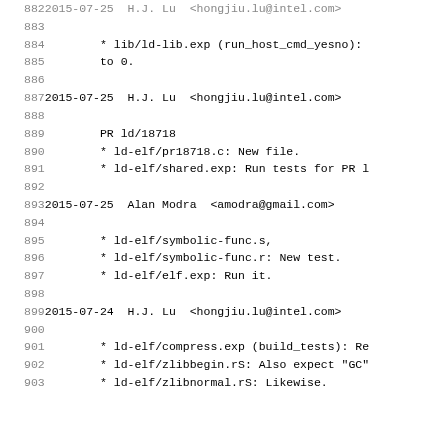Source code changelog listing lines 882-903, showing git log entries with dates, authors, emails, and file change descriptions for binutils/ld project.